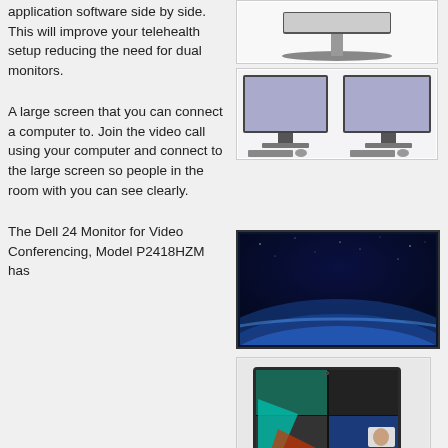application software side by side. This will improve your telehealth setup reducing the need for dual monitors.
[Figure (photo): Monitor on a stand, top view/side view]
[Figure (photo): Dual monitor setup with keyboards and mice]
A large screen that you can connect a computer to. Join the video call using your computer and connect to the large screen so people in the room with you can see clearly.
[Figure (photo): Large screen monitor displaying a blue space/earth image]
The Dell 24 Monitor for Video Conferencing, Model P2418HZM has
[Figure (photo): Dell 24 Monitor for Video Conferencing showing design software on screen]
Dell 24 Monitor for